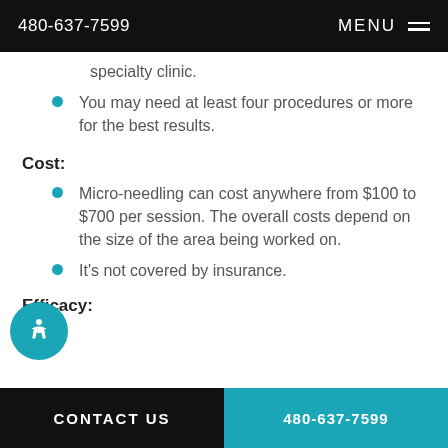480-637-7599  MENU
specialty clinic.
You may need at least four procedures or more for the best results.
Cost:
Micro-needling can cost anywhere from $100 to $700 per session. The overall costs depend on the size of the area being worked on.
It's not covered by insurance.
Efficacy:
CONTACT US  480-637-7599